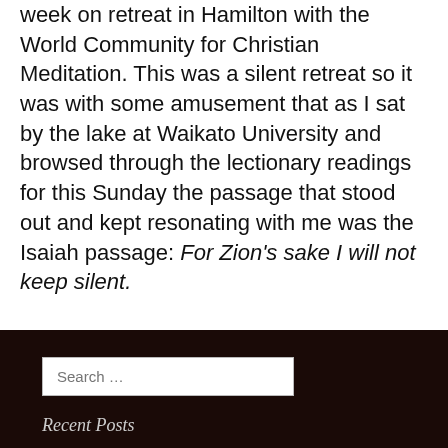week on retreat in Hamilton with the World Community for Christian Meditation. This was a silent retreat so it was with some amusement that as I sat by the lake at Waikato University and browsed through the lectionary readings for this Sunday the passage that stood out and kept resonating with me was the Isaiah passage: For Zion's sake I will not keep silent.
Continue reading →
Search …
Recent Posts